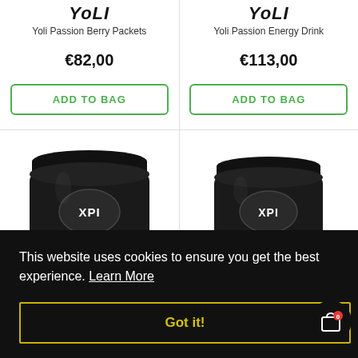YoLI
Yoli Passion Berry Packets
€82,00
ADD TO BAG
YoLI
Yoli Passion Energy Drink
€113,00
ADD TO BAG
[Figure (photo): XPI black supplement jar, partially visible at bottom of left cell]
[Figure (photo): XPI black supplement jar, partially visible at bottom of right cell]
This website uses cookies to ensure you get the best experience. Learn More
Got it!